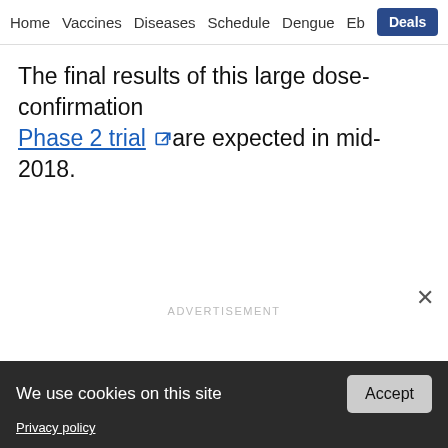Home  Vaccines  Diseases  Schedule  Dengue  Eb  Deals  Labs
The final results of this large dose-confirmation Phase 2 trial are expected in mid-2018.
ADVERTISEMENT
We use cookies on this site
Privacy policy